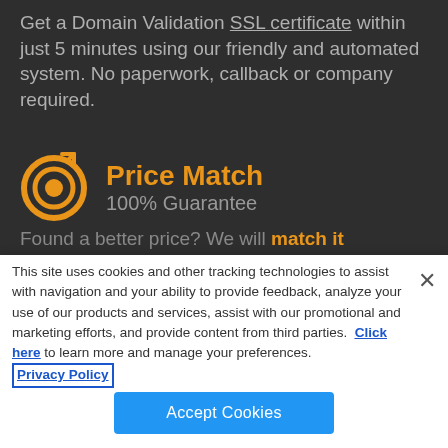Get a Domain Validation SSL certificate within just 5 minutes using our friendly and automated system. No paperwork, callback or company required.
[Figure (logo): Orange target/bullseye icon with arrow]
Price Match
100% Guarantee
Found a better price? We will match it
This site uses cookies and other tracking technologies to assist with navigation and your ability to provide feedback, analyze your use of our products and services, assist with our promotional and marketing efforts, and provide content from third parties.  Click here to learn more and manage your preferences.  Privacy Policy
Accept Cookies